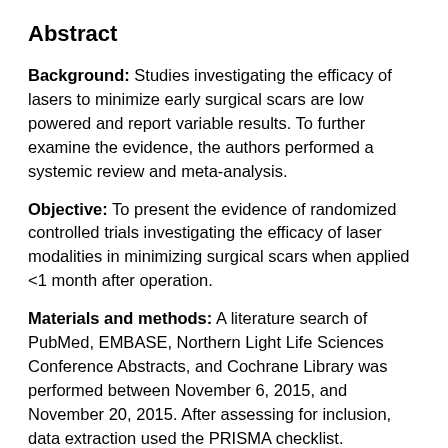Abstract
Background: Studies investigating the efficacy of lasers to minimize early surgical scars are low powered and report variable results. To further examine the evidence, the authors performed a systemic review and meta-analysis.
Objective: To present the evidence of randomized controlled trials investigating the efficacy of laser modalities in minimizing surgical scars when applied <1 month after operation.
Materials and methods: A literature search of PubMed, EMBASE, Northern Light Life Sciences Conference Abstracts, and Cochrane Library was performed between November 6, 2015, and November 20, 2015. After assessing for inclusion, data extraction used the PRISMA checklist. Assessment for quality, validity, and risk of bias